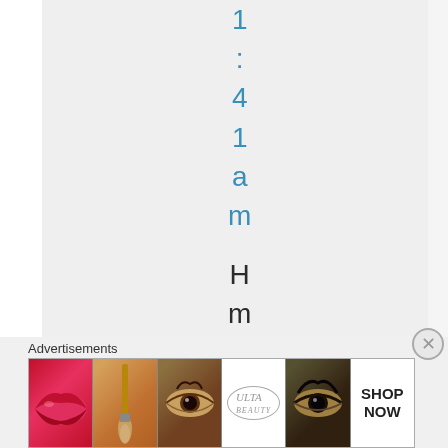1 : 4 1 a m   H m m , n o l h
Advertisements
[Figure (photo): Beauty advertisement banner showing makeup-related images: red lips with lipstick, makeup brush, eye with makeup, Ulta Beauty logo, smoky eye, and Shop Now button]